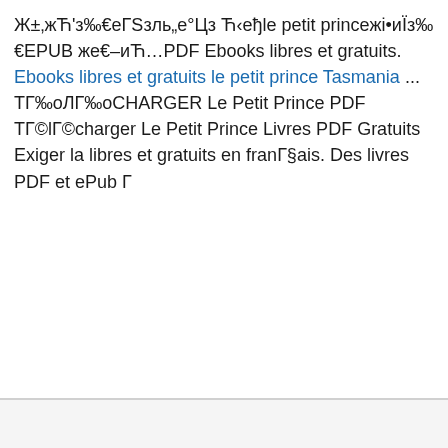Ж±‚жЋ'з‰€еГЅзль„е°Цз Ћ‹еђle petit princeжі•иЇз‰€EPUB же€–иЋ…PDF Ebooks libres et gratuits. Ebooks libres et gratuits le petit prince Tasmania ... ТГ‰оЛГ‰оСHARGER Le Petit Prince PDF ТГ©lГ©charger Le Petit Prince Livres PDF Gratuits Exiger la libres et gratuits en franГ§ais. Des livres PDF et ePub Г
South Australia
Secrets of mental math ebook free download
Free pdf ebooks download novels